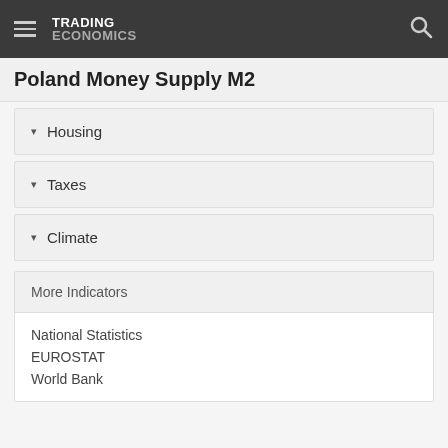TRADING ECONOMICS
Poland Money Supply M2
Housing
Taxes
Climate
More Indicators
National Statistics
EUROSTAT
World Bank